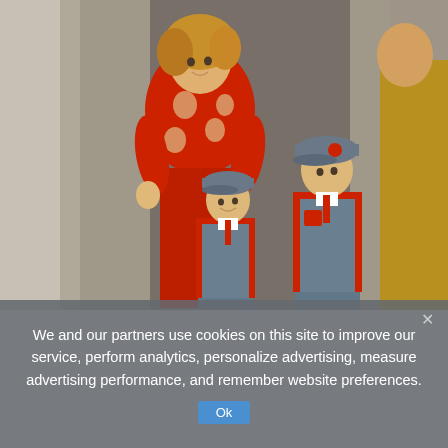[Figure (photo): A woman in a red embroidered sweater and matching skirt stands with two young boys dressed in grey and red school uniforms with caps. A person in yellow is partially visible on the right edge. The setting appears to be an outdoor or doorway area.]
We and our partners use cookies on this site to improve our service, perform analytics, personalize advertising, measure advertising performance, and remember website preferences.